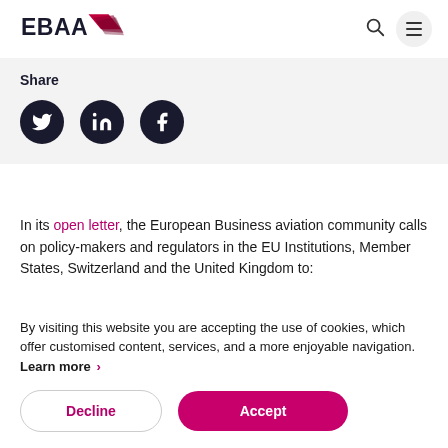[Figure (logo): EBAA logo with magenta aircraft wing graphic and EBAA text]
Share
[Figure (infographic): Social share icons: Twitter, LinkedIn, Facebook — dark navy circles with white icons]
In its open letter, the European Business aviation community calls on policy-makers and regulators in the EU Institutions, Member States, Switzerland and the United Kingdom to:
By visiting this website you are accepting the use of cookies, which offer customised content, services, and a more enjoyable navigation. Learn more ›
Decline
Accept